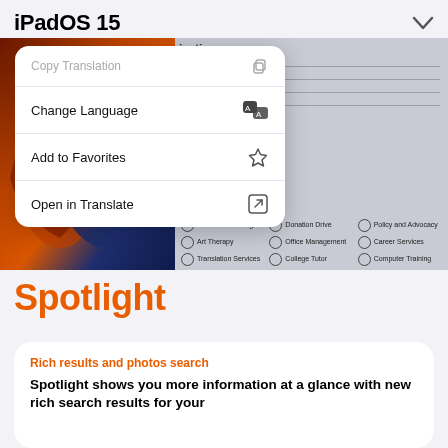iPadOS 15
[Figure (screenshot): iPad screenshot showing a translation app with a popup menu containing options: Copy Translation, Change Language, Add to Favorites, Open in Translate. Below shows a form with checkboxes for After-school Program, Donation Drive, Policy and Advocacy, Art Therapy, Office Management, Career Services, Translation Services, College Tutor, Computer Training.]
Spotlight
Rich results and photos search
Spotlight shows you more information at a glance with new rich search results for your